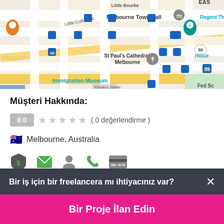[Figure (map): Google Maps screenshot showing Melbourne CBD area with landmarks: Melbourne Town Hall, St Paul's Cathedral Melbourne, Immigration Museum, Regent Theatre, Fed Square area, Little Bourke St, Little Collins St, with transit/bus stop pins.]
Müşteri Hakkında:
0.0  ★★★★★  ( 0 değerlendirme )
🇦🇺 Melbourne, Australia
[Figure (infographic): Row of user profile icons: shield with dollar sign (dark), green envelope, grey person silhouette, green phone, grey credit card]
Proje NO: #00750056
Bir iş için bir freelancera mı ihtiyacınız var?  ×
Bir Proje İlan Edin